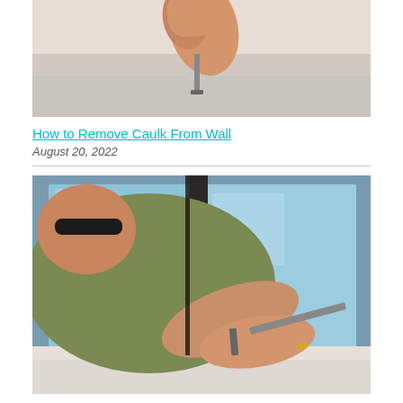[Figure (photo): A hand holding a tool near a bathtub faucet and white tiled wall, showing caulk removal from a wall surface.]
How to Remove Caulk From Wall
August 20, 2022
[Figure (photo): A person using a tool to remove old caulk from a window frame, with glass panels visible in the background.]
How to Remove Old Caulk From Windows